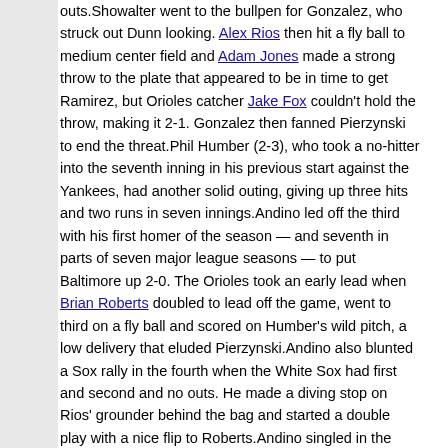outs.Showalter went to the bullpen for Gonzalez, who struck out Dunn looking. Alex Rios then hit a fly ball to medium center field and Adam Jones made a strong throw to the plate that appeared to be in time to get Ramirez, but Orioles catcher Jake Fox couldn't hold the throw, making it 2-1. Gonzalez then fanned Pierzynski to end the threat.Phil Humber (2-3), who took a no-hitter into the seventh inning in his previous start against the Yankees, had another solid outing, giving up three hits and two runs in seven innings.Andino led off the third with his first homer of the season — and seventh in parts of seven major league seasons — to put Baltimore up 2-0. The Orioles took an early lead when Brian Roberts doubled to lead off the game, went to third on a fly ball and scored on Humber's wild pitch, a low delivery that eluded Pierzynski.Andino also blunted a Sox rally in the fourth when the White Sox had first and second and no outs. He made a diving stop on Rios' grounder behind the bag and started a double play with a nice flip to Roberts.Andino singled in the eighth off Matt Thornton and stole second. When Roberts struck out, the ball got by Pierzynski, who retrieved it and threw low to Dunn at